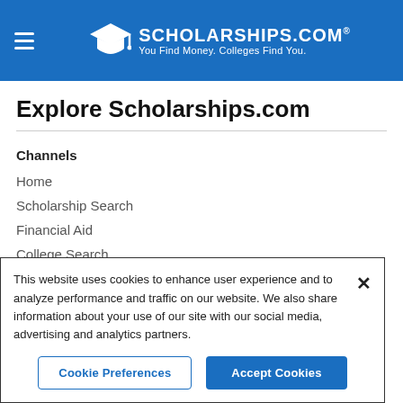[Figure (logo): Scholarships.com logo with graduation cap icon and tagline 'You Find Money. Colleges Find You.' on blue header background]
Explore Scholarships.com
Channels
Home
Scholarship Search
Financial Aid
College Search
News
This website uses cookies to enhance user experience and to analyze performance and traffic on our website. We also share information about your use of our site with our social media, advertising and analytics partners.
Cookie Preferences
Accept Cookies